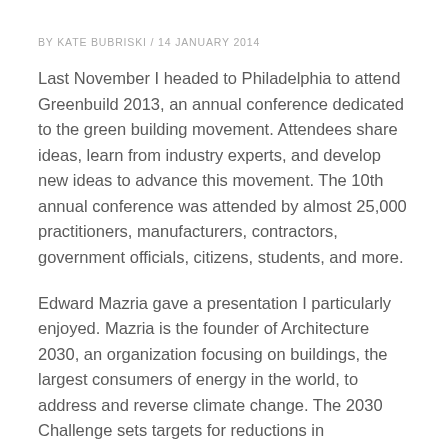BY KATE BUBRISKI / 14 JANUARY 2014
Last November I headed to Philadelphia to attend Greenbuild 2013, an annual conference dedicated to the green building movement. Attendees share ideas, learn from industry experts, and develop new ideas to advance this movement. The 10th annual conference was attended by almost 25,000 practitioners, manufacturers, contractors, government officials, citizens, students, and more.
Edward Mazria gave a presentation I particularly enjoyed. Mazria is the founder of Architecture 2030, an organization focusing on buildings, the largest consumers of energy in the world, to address and reverse climate change. The 2030 Challenge sets targets for reductions in greenhouse gas emissions. I was inspired by the statistics that Mazria shared indicating that the efforts towards sustainable buildings are starting to make an impact on the rate of